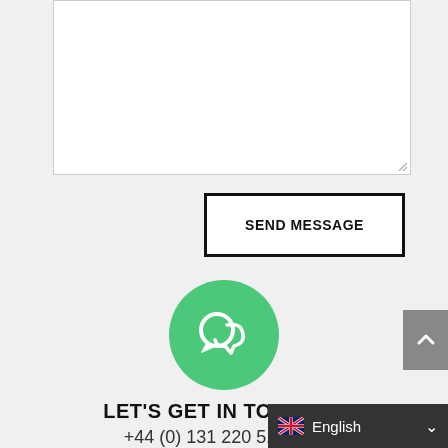[Figure (screenshot): White textarea input box with resize handle at bottom right corner]
SEND MESSAGE
[Figure (illustration): Green circle with white chat bubble icon]
LET'S GET IN TOUCH
+44 (0) 131 220 5119
hello@inlingua-edinburgh.co.uk
You can find us & follow
[Figure (screenshot): Language selector bar showing English with UK flag and dropdown chevron]